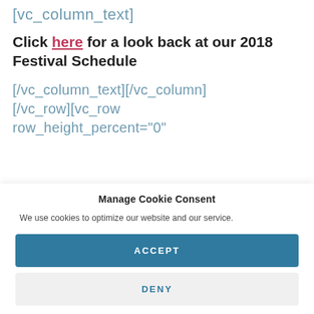[vc_column_text]
Click here for a look back at our 2018 Festival Schedule
[/vc_column_text][/vc_column][/vc_row][vc_row row_height_percent="0"
Manage Cookie Consent
We use cookies to optimize our website and our service.
ACCEPT
DENY